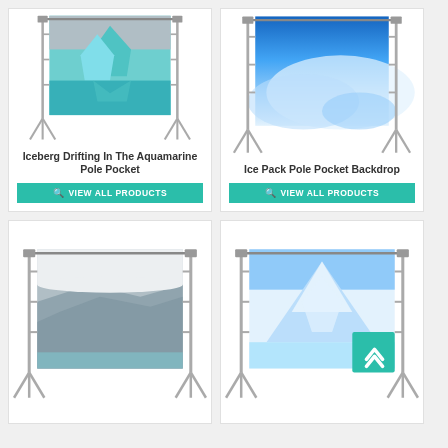[Figure (photo): Iceberg drifting in aquamarine water displayed on a photo backdrop stand]
Iceberg Drifting In The Aquamarine Pole Pocket
VIEW ALL PRODUCTS
[Figure (photo): Aerial view of ice pack / polar landscape displayed on a photo backdrop stand]
Ice Pack Pole Pocket Backdrop
VIEW ALL PRODUCTS
[Figure (photo): Glacier and snowy landscape displayed on a photo backdrop stand]
[Figure (photo): Snowy mountain/iceberg displayed on a photo backdrop stand, with teal scroll-to-top button]